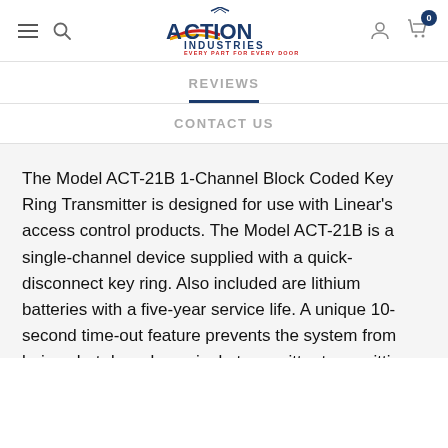[Figure (logo): Action Industries logo with house roof graphic and tagline EVERY PART FOR EVERY DOOR]
REVIEWS
CONTACT US
The Model ACT-21B 1-Channel Block Coded Key Ring Transmitter is designed for use with Linear's access control products. The Model ACT-21B is a single-channel device supplied with a quick-disconnect key ring. Also included are lithium batteries with a five-year service life. A unique 10-second time-out feature prevents the system from being shut down by a single transmitter transmitting continuously. The transmitter is MegaCode format, which